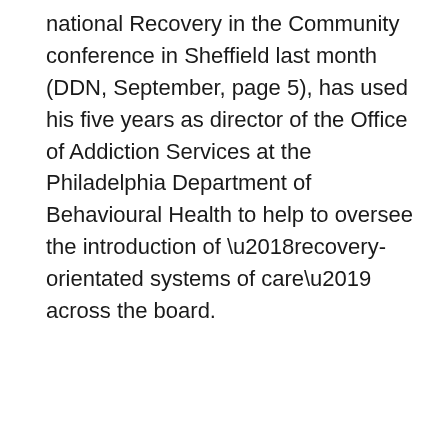national Recovery in the Community conference in Sheffield last month (DDN, September, page 5), has used his five years as director of the Office of Addiction Services at the Philadelphia Department of Behavioural Health to help to oversee the introduction of ‘recovery-orientated systems of care’ across the board.